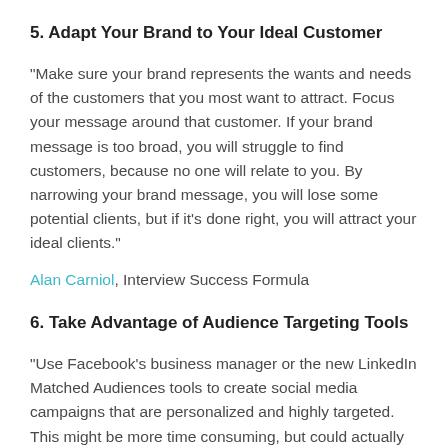5. Adapt Your Brand to Your Ideal Customer
“Make sure your brand represents the wants and needs of the customers that you most want to attract. Focus your message around that customer. If your brand message is too broad, you will struggle to find customers, because no one will relate to you. By narrowing your brand message, you will lose some potential clients, but if it’s done right, you will attract your ideal clients.”
Alan Carniol, Interview Success Formula
6. Take Advantage of Audience Targeting Tools
“Use Facebook’s business manager or the new LinkedIn Matched Audiences tools to create social media campaigns that are personalized and highly targeted. This might be more time consuming, but could actually decrease your ad spending and attract the right kind of clientele.”